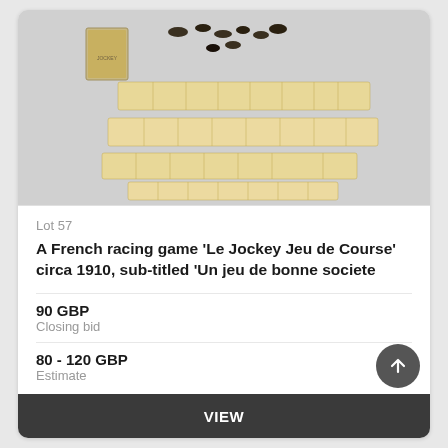[Figure (photo): A French racing board game 'Le Jockey Jeu de Course' circa 1910, showing game components: a small box/booklet, several small figurine pieces, and multiple rows of illustrated game cards laid out on a light gray background.]
Lot 57
A French racing game 'Le Jockey Jeu de Course' circa 1910, sub-titled 'Un jeu de bonne societe
90 GBP
Closing bid
80 - 120 GBP
Estimate
VIEW